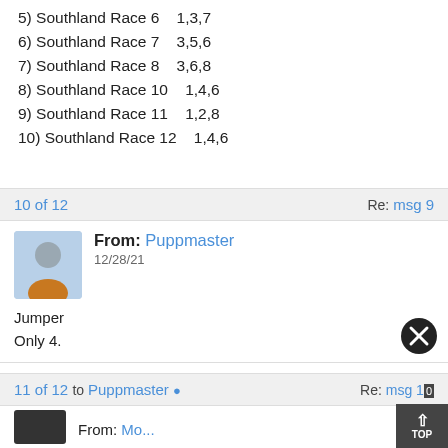5) Southland Race 6    1,3,7
6) Southland Race 7    3,5,6
7) Southland Race 8    3,6,8
8) Southland Race 10    1,4,6
9) Southland Race 11    1,2,8
10) Southland Race 12    1,4,6
10 of 12    Re: msg 9
From: Puppmaster
12/28/21
Jumper
Only 4.
11 of 12 to Puppmaster ✓    Re: msg 10